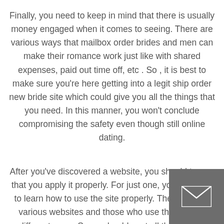Finally, you need to keep in mind that there is usually money engaged when it comes to seeing. There are various ways that mailbox order brides and men can make their romance work just like with shared expenses, paid out time off, etc . So , it is best to make sure you're here getting into a legit ship order new bride site which could give you all the things that you need. In this manner, you won't conclude compromising the safety even though still online dating.
After you've discovered a website, you should try that you apply it properly. For just one, you have to learn how to use the site properly. There are various websites and those who use them in different ways. Some should post all the info about their profiles just to draw in more women